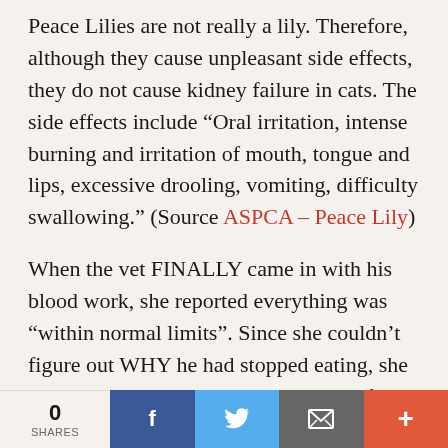Peace Lilies are not really a lily. Therefore, although they cause unpleasant side effects, they do not cause kidney failure in cats. The side effects include “Oral irritation, intense burning and irritation of mouth, tongue and lips, excessive drooling, vomiting, difficulty swallowing.” (Source ASPCA – Peace Lily)
When the vet FINALLY came in with his blood work, she reported everything was “within normal limits”. Since she couldn’t figure out WHY he had stopped eating, she recommended admitting him to do IV fluids (even though his liver and kidney values were FINE), more blood work, x-ray, CT
[Figure (infographic): Social sharing bar at the bottom: shows 0 SHARES on the left, then Facebook (blue), Twitter (light blue), Email/envelope (gray), and a plus/more button (red-orange).]